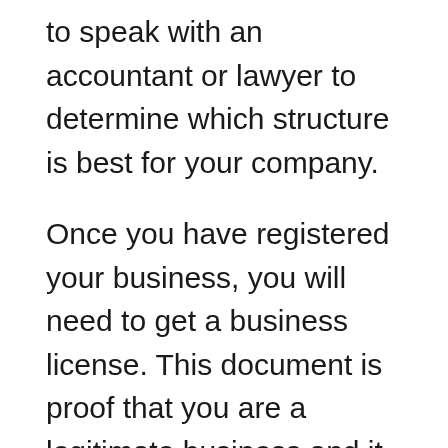to speak with an accountant or lawyer to determine which structure is best for your company.
Once you have registered your business, you will need to get a business license. This document is proof that you are a legitimate business and it allows you to operate legally. You will also need to register for an Employer Identification Number (EIN). This number is used by the government to track taxes and it is required for all businesses.